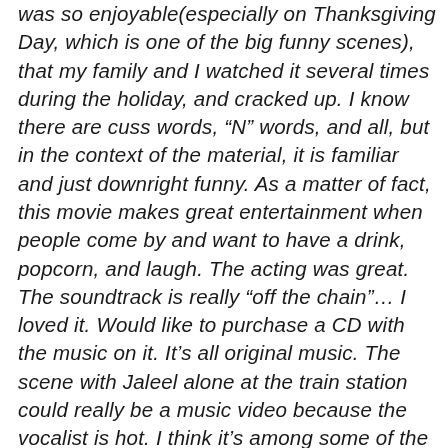was so enjoyable(especially on Thanksgiving Day, which is one of the big funny scenes), that my family and I watched it several times during the holiday, and cracked up. I know there are cuss words, "N" words, and all, but in the context of the material, it is familiar and just downright funny. As a matter of fact, this movie makes great entertainment when people come by and want to have a drink, popcorn, and laugh. The acting was great. The soundtrack is really "off the chain"… I loved it. Would like to purchase a CD with the music on it. It's all original music. The scene with Jaleel alone at the train station could really be a music video because the vocalist is hot. I think it's among some of the best work I've scene Clifton Powell do, and he and Ella Joyce have great chemistry. Ella seems to be the voice of calm and reason in this film and she